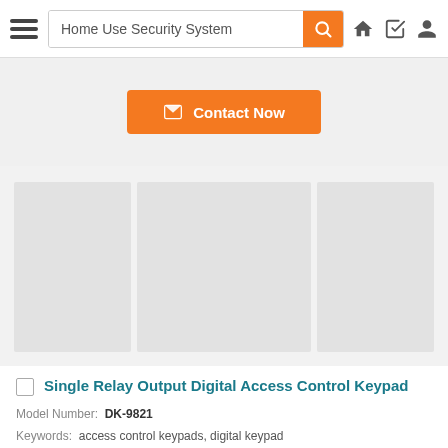Home Use Security System
Contact Now
[Figure (photo): Product images placeholder — three grey image boxes side by side showing product photos]
Single Relay Output Digital Access Control Keypad
Model Number: DK-9821
Keywords: access control keypads, digital keypad